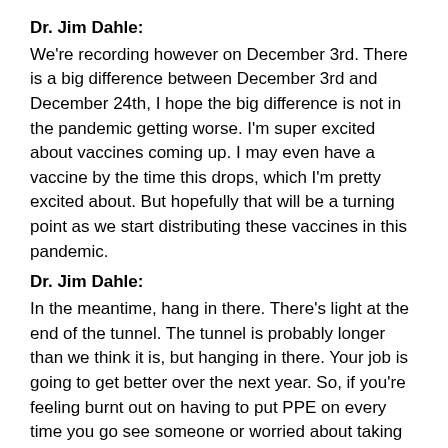Dr. Jim Dahle:
We're recording however on December 3rd. There is a big difference between December 3rd and December 24th, I hope the big difference is not in the pandemic getting worse. I'm super excited about vaccines coming up. I may even have a vaccine by the time this drops, which I'm pretty excited about. But hopefully that will be a turning point as we start distributing these vaccines in this pandemic.
Dr. Jim Dahle:
In the meantime, hang in there. There's light at the end of the tunnel. The tunnel is probably longer than we think it is, but hanging in there. Your job is going to get better over the next year. So, if you're feeling burnt out on having to put PPE on every time you go see someone or worried about taking something home to your family, hang in there, it's going to be over soon.